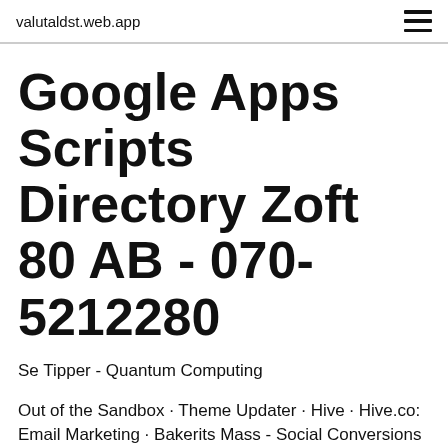valutaldst.web.app
Google Apps Scripts Directory Zoft 80 AB - 070-5212280
Se Tipper - Quantum Computing
Out of the Sandbox · Theme Updater · Hive · Hive.co: Email Marketing · Bakerits Mass - Social Conversions · Gold Feed Inc. Precious Metals Price